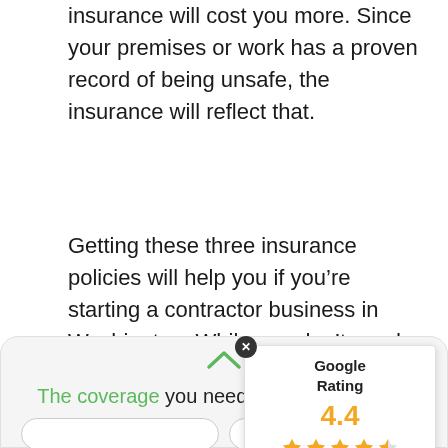insurance will cost you more. Since your premises or work has a proven record of being unsafe, the insurance will reflect that.
Getting these three insurance policies will help you if you're starting a contractor business in Washington. While you don't need to excessively worry about injuries, illnesses, mess ups, e... should be prepared. As they say, hope for t... but prepare for the worst.
[Figure (infographic): Google Rating widget showing 4.4 stars with five star icons (four full, one half), overlaid on the article text with a green horizontal line and close button]
The coverage you need for your business.